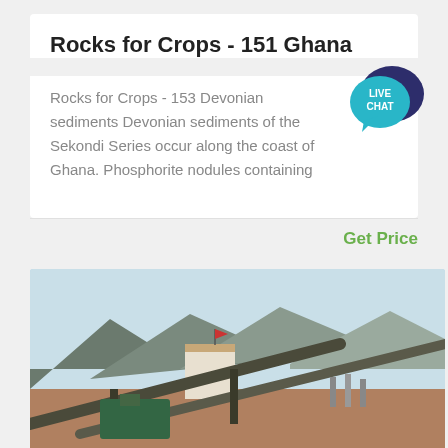Rocks for Crops - 151 Ghana
Rocks for Crops - 153 Devonian sediments Devonian sediments of the Sekondi Series occur along the coast of Ghana. Phosphorite nodules containing
[Figure (illustration): Live Chat speech bubble icon in teal/dark blue]
Get Price
[Figure (photo): Industrial mining/crushing plant machinery with conveyor belts against a mountain backdrop]